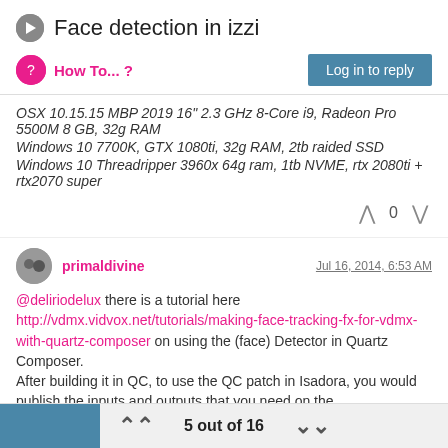Face detection in izzi
How To... ?
OSX 10.15.15 MBP 2019 16" 2.3 GHz 8-Core i9, Radeon Pro 5500M 8 GB, 32g RAM
Windows 10 7700K, GTX 1080ti, 32g RAM, 2tb raided SSD
Windows 10 Threadripper 3960x 64g ram, 1tb NVME, rtx 2080ti + rtx2070 super
0
primaldivine  Jul 16, 2014, 6:53 AM
@deliriodelux there is a tutorial here http://vdmx.vidvox.net/tutorials/making-face-tracking-fx-for-vdmx-with-quartz-composer on using the (face) Detector in Quartz Composer.
After building it in QC, to use the QC patch in Isadora, you would publish the inputs and outputs that you need on the
5 out of 16